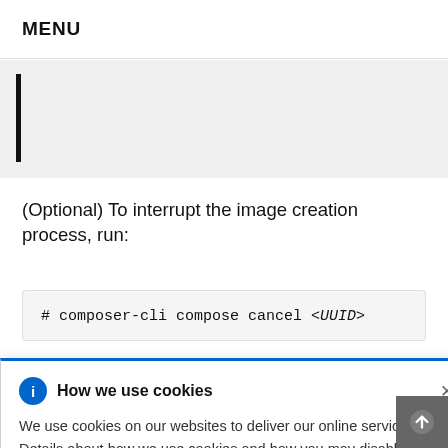MENU
[Figure (screenshot): Partially visible code block with vertical black bar on the left, grey background]
(Optional) To interrupt the image creation process, run:
# composer-cli compose cancel <UUID>
[Figure (screenshot): Cookie consent popup with blue top border, info icon, 'How we use cookies' title, close X button, body text about cookies with Privacy Statement link]
e, run:
IID>
upgrade
d: